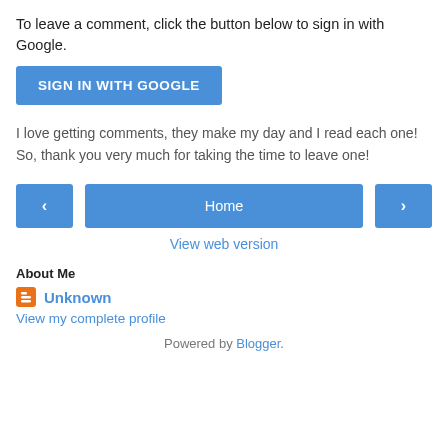To leave a comment, click the button below to sign in with Google.
[Figure (other): Blue button labeled SIGN IN WITH GOOGLE]
I love getting comments, they make my day and I read each one! So, thank you very much for taking the time to leave one!
[Figure (other): Navigation row with left arrow button, Home button, and right arrow button]
View web version
About Me
Unknown
View my complete profile
Powered by Blogger.